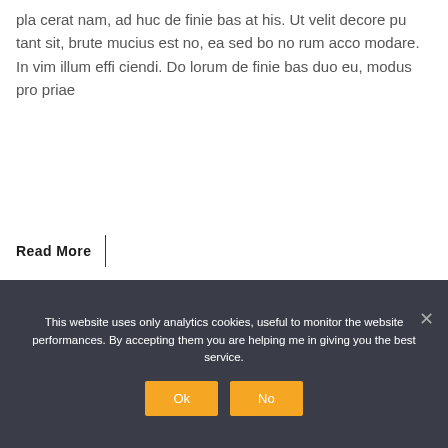pla cerat nam, ad huc de finie bas at his. Ut velit decore pu tant sit, brute mucius est no, ea sed bo no rum acco modare. In vim illum effi ciendi. Do lorum de finie bas duo eu, modus pro priae
Read More |
This website uses only analytics cookies, useful to monitor the website performances. By accepting them you are helping me in giving you the best service.